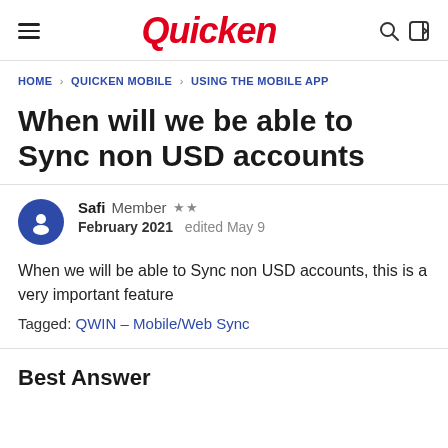Quicken
HOME › QUICKEN MOBILE › USING THE MOBILE APP
When will we be able to Sync non USD accounts
Safi Member ★★ February 2021 edited May 9
When we will be able to Sync non USD accounts, this is a very important feature
Tagged: QWIN – Mobile/Web Sync
Best Answer